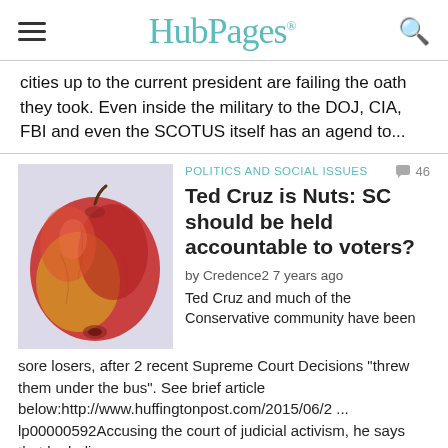HubPages
cities up to the current president are failing the oath they took. Even inside the military to the DOJ, CIA, FBI and even the SCOTUS itself has an agend to...
POLITICS AND SOCIAL ISSUES  46
Ted Cruz is Nuts: SC should be held accountable to voters?
by Credence2 7 years ago
[Figure (photo): Photo of a red and yellow apple against a light background]
Ted Cruz and much of the Conservative community have been sore losers, after 2 recent Supreme Court Decisions "threw them under the bus". See brief article below:http://www.huffingtonpost.com/2015/06/2 ... lp00000592Accusing the court of judicial activism, he says that he believes...